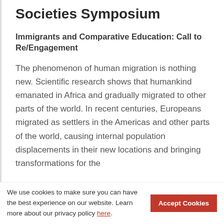Societies Symposium
Immigrants and Comparative Education: Call to Re/Engagement
The phenomenon of human migration is nothing new. Scientific research shows that humankind emanated in Africa and gradually migrated to other parts of the world. In recent centuries, Europeans migrated as settlers in the Americas and other parts of the world, causing internal population displacements in their new locations and bringing transformations for the
We use cookies to make sure you can have the best experience on our website. Learn more about our privacy policy here.